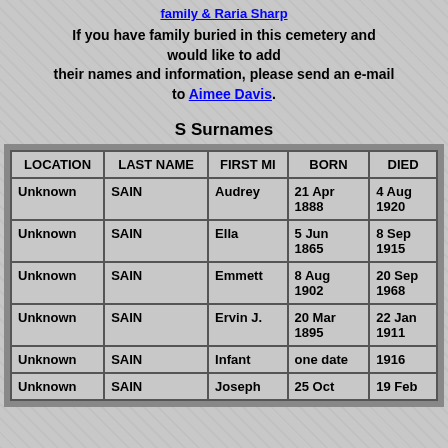family & Raria Sharp
If you have family buried in this cemetery and would like to add their names and information, please send an e-mail to Aimee Davis.
S Surnames
| LOCATION | LAST NAME | FIRST MI | BORN | DIED |
| --- | --- | --- | --- | --- |
| Unknown | SAIN | Audrey | 21 Apr 1888 | 4 Aug 1920 |
| Unknown | SAIN | Ella | 5 Jun 1865 | 8 Sep 1915 |
| Unknown | SAIN | Emmett | 8 Aug 1902 | 20 Sep 1968 |
| Unknown | SAIN | Ervin J. | 20 Mar 1895 | 22 Jan 1911 |
| Unknown | SAIN | Infant | one date | 1916 |
| Unknown | SAIN | Joseph | 25 Oct | 19 Feb |